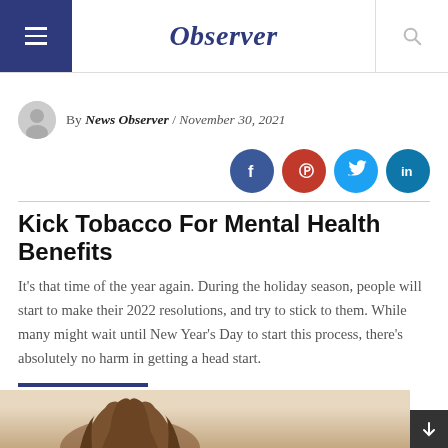Observer
By News Observer / November 30, 2021
Kick Tobacco For Mental Health Benefits
It’s that time of the year again. During the holiday season, people will start to make their 2022 resolutions, and try to stick to them. While many might wait until New Year’s Day to start this process, there’s absolutely no harm in getting a head start.
[Figure (photo): Photo of a person with curly hair, partially visible at bottom of page]